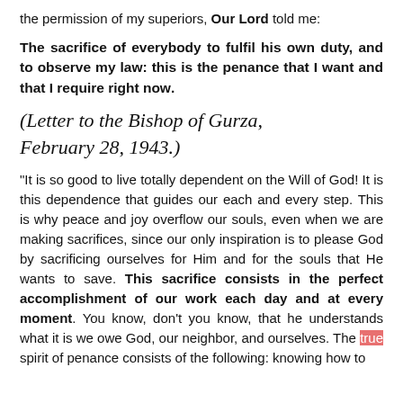the permission of my superiors, Our Lord told me:
The sacrifice of everybody to fulfil his own duty, and to observe my law: this is the penance that I want and that I require right now.
(Letter to the Bishop of Gurza, February 28, 1943.)
"It is so good to live totally dependent on the Will of God! It is this dependence that guides our each and every step. This is why peace and joy overflow our souls, even when we are making sacrifices, since our only inspiration is to please God by sacrificing ourselves for Him and for the souls that He wants to save. This sacrifice consists in the perfect accomplishment of our work each day and at every moment. You know, don't you know, that he understands what it is we owe God, our neighbor, and ourselves. The true spirit of penance consists of the following: knowing how to